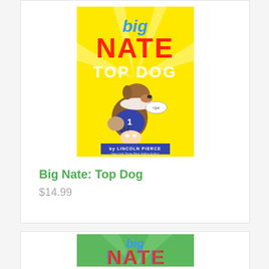[Figure (illustration): Book cover of 'Big Nate: Top Dog' by Lincoln Pierce. Yellow background with cartoon dog wearing a cone collar and a jersey, sitting on top of Nate. Text reads 'big NATE TOP DOG by Lincoln Pierce New York Times Best Selling Author'.]
Big Nate: Top Dog
$14.99
[Figure (illustration): Partial book cover showing a green background with 'big NATE' text in red letters with blue shadow effect.]